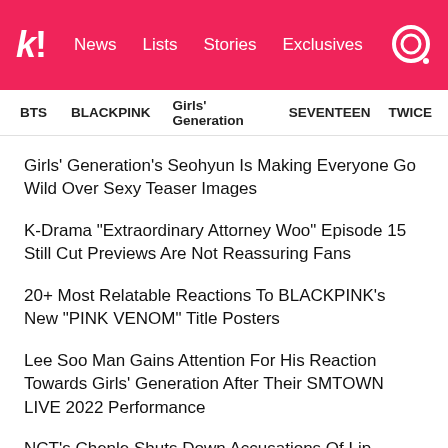k! News Lists Stories Exclusives
BTS  BLACKPINK  Girls' Generation  SEVENTEEN  TWICE
Girls' Generation's Seohyun Is Making Everyone Go Wild Over Sexy Teaser Images
K-Drama "Extraordinary Attorney Woo" Episode 15 Still Cut Previews Are Not Reassuring Fans
20+ Most Relatable Reactions To BLACKPINK's New "PINK VENOM" Title Posters
Lee Soo Man Gains Attention For His Reaction Towards Girls' Generation After Their SMTOWN LIVE 2022 Performance
NCT's Chenle Shuts Down Accusations Of Lip-Syncing In The Classiest Way
NEXT ARTICLE